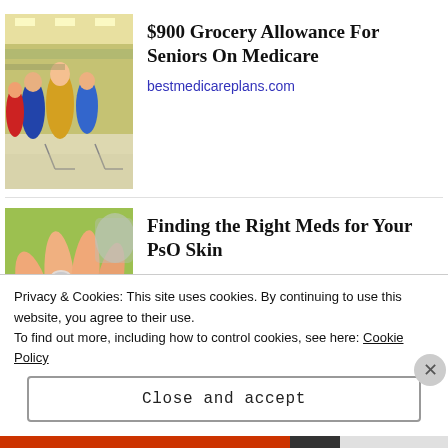[Figure (photo): People shopping in a grocery store, seen from behind, with shopping carts in a busy supermarket aisle.]
$900 Grocery Allowance For Seniors On Medicare
bestmedicareplans.com
[Figure (photo): Close-up of a hand holding a small pill or medication, on a light green background.]
Finding the Right Meds for Your PsO Skin
HealthCentral.com
Privacy & Cookies: This site uses cookies. By continuing to use this website, you agree to their use.
To find out more, including how to control cookies, see here: Cookie Policy
Close and accept